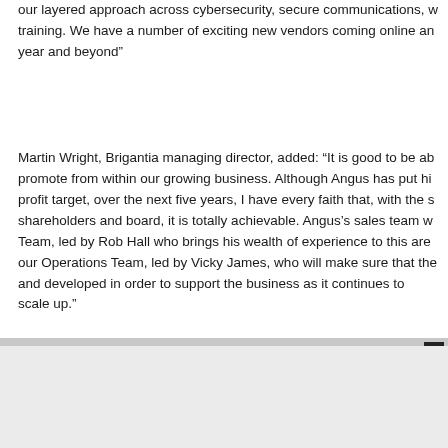our layered approach across cybersecurity, secure communications, workforce training. We have a number of exciting new vendors coming online and this year and beyond”
Martin Wright, Brigantia managing director, added: “It is good to be able to promote from within our growing business. Although Angus has put himself a profit target, over the next five years, I have every faith that, with the support of shareholders and board, it is totally achievable. Angus’s sales team will be an Sales Team, led by Rob Hall who brings his wealth of experience to this area, as will our Operations Team, led by Vicky James, who will make sure that the team is built and developed in order to support the business as it continues to scale up.”